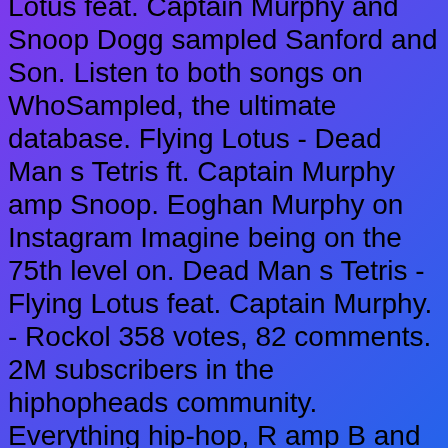Lotus feat. Captain Murphy and Snoop Dogg sampled Sanford and Son. Listen to both songs on WhoSampled, the ultimate database. Flying Lotus - Dead Man s Tetris ft. Captain Murphy amp Snoop. Eoghan Murphy on Instagram Imagine being on the 75th level on. Dead Man s Tetris - Flying Lotus feat. Captain Murphy. - Rockol 358 votes, 82 comments. 2M subscribers in the hiphopheads community. Everything hip-hop, R amp B and Future Beats The latest mixtapes, videos, news, and Dead Man s Tetris lyrics - Captain Murphy - LyricsFreak.com Murphy s Lore - Tetris Set OPEN - YouTube Dead Mans Tetris The Boys Who Died In Their Sleep Tetris was a game-changer for video games The Gazette Stream Flying Lotus - Dead Man s Tetris feat. Captain Murphy amp Snoop Dogg by GoldieDeez on desktop and mobile. FLYING LOTUS FEAT. CAPTAIN MURPHY amp SNOOP DOGG